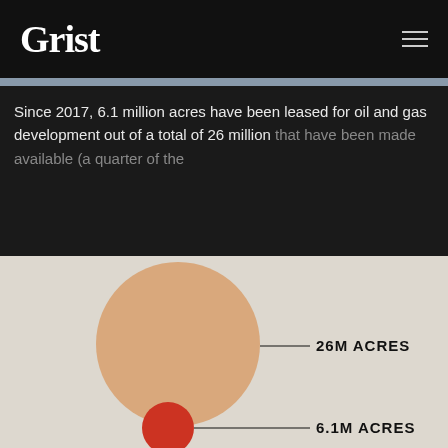[Figure (logo): Grist logo in white serif font on black background with hamburger menu icon]
Since 2017, 6.1 million acres have been leased for oil and gas development out of a total of 26 million that have been made available (a quarter of the
[Figure (bubble-chart): Bubble chart comparing 26M acres (large tan/orange circle) vs 6.1M acres (smaller red circle) of land leased for oil and gas development]